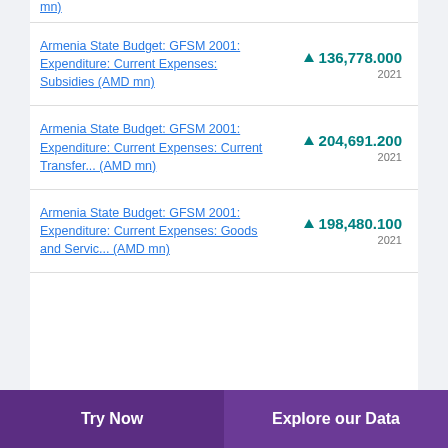Armenia State Budget: GFSM 2001: Expenditure: Current Expenses: Subsidies (AMD mn)
Armenia State Budget: GFSM 2001: Expenditure: Current Expenses: Current Transfer... (AMD mn)
Armenia State Budget: GFSM 2001: Expenditure: Current Expenses: Goods and Servic... (AMD mn)
Try Now | Explore our Data